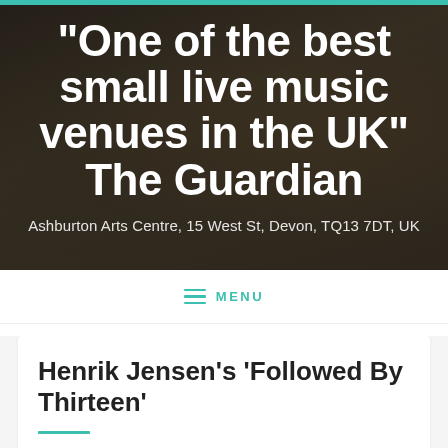[Figure (photo): Dark background hero image of musicians/instruments at a live music venue with overlay text]
“One of the best small live music venues in the UK” The Guardian
Ashburton Arts Centre, 15 West St, Devon, TQ13 7DT, UK
MENU
Henrik Jensen’s ‘Followed By Thirteen’
Date/Tim
[Figure (photo): Colorful abstract or artistic thumbnail image]